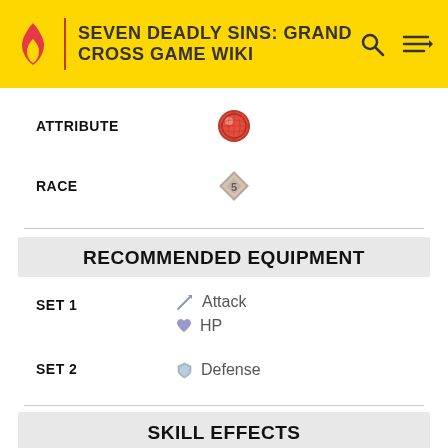SEVEN DEADLY SINS: GRAND CROSS GAME WIKI
ATTRIBUTE
RACE
RECOMMENDED EQUIPMENT
SET 1
Attack
HP
SET 2
Defense
SKILL EFFECTS